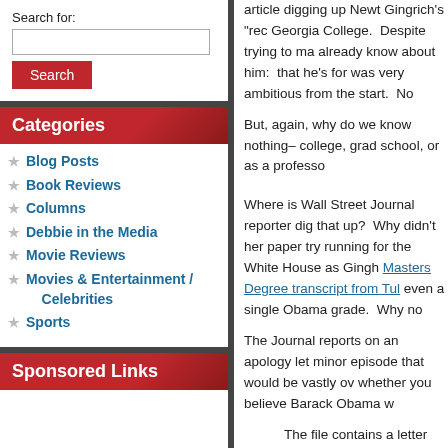Search for:
Search
Categories
Blog Posts
Book Reviews
Columns
Debbie in the Media
Movie Reviews
Movies & Entertainment / Celebrities
Sports
Sponsored Links
article digging up Newt Gingrich's "rec Georgia College. Despite trying to ma already know about him: that he's for was very ambitious from the start. No
But, again, why do we know nothing– college, grad school, or as a professo
Where is Wall Street Journal reporter dig that up? Why didn't her paper try running for the White House as Gingh Masters Degree transcript from Tul even a single Obama grade. Why no
The Journal reports on an apology let minor episode that would be vastly ov whether you believe Barack Obama w
The file contains a letter from treatment of Mr. Kennedy, the acting in innocence will cause a good cause," Mr. Gingrich w Kennedy is missing.